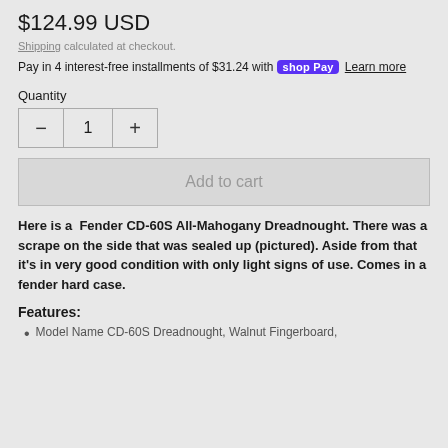$124.99 USD
Shipping calculated at checkout.
Pay in 4 interest-free installments of $31.24 with shop Pay Learn more
Quantity
1
Add to cart
Here is a Fender CD-60S All-Mahogany Dreadnought. There was a scrape on the side that was sealed up (pictured). Aside from that it's in very good condition with only light signs of use. Comes in a fender hard case.
Features:
Model Name CD-60S Dreadnought, Walnut Fingerboard,